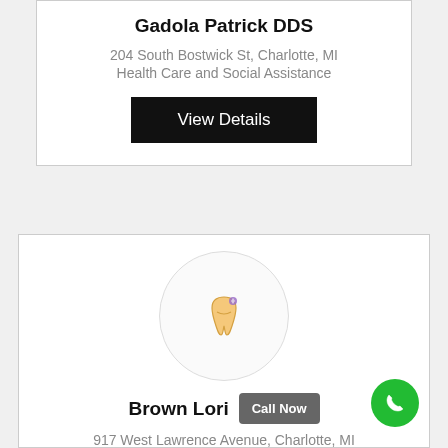Gadola Patrick DDS
204 South Bostwick St, Charlotte, MI
Health Care and Social Assistance
View Details
[Figure (logo): Dental practice logo icon — tooth with a small sparkle/diamond, inside a circle]
Brown Lori
Call Now
917 West Lawrence Avenue, Charlotte, MI